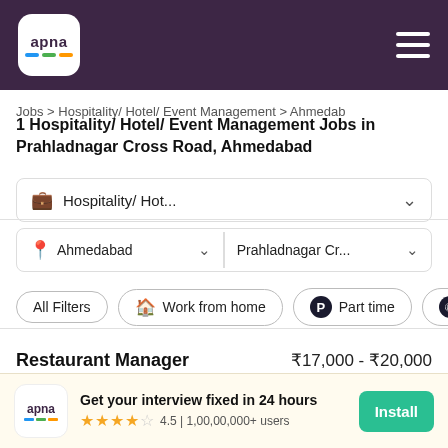apna (logo) | hamburger menu
Jobs > Hospitality/ Hotel/ Event Management > Ahmedabad
1 Hospitality/ Hotel/ Event Management Jobs in Prahladnagar Cross Road, Ahmedabad
Hospitality/ Hot... (dropdown filter)
Ahmedabad (dropdown) | Prahladnagar Cr... (dropdown)
All Filters
Work from home
Part time
Night Sh...
Restaurant Manager | ₹17,000 - ₹20,000
Miracle Ventures
Get your interview fixed in 24 hours | 4.5 | 1,00,00,000+ users | Install